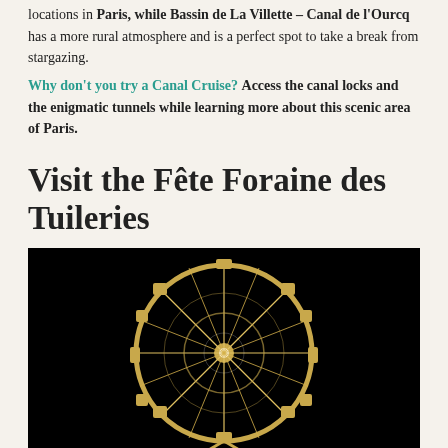locations in Paris, while Bassin de La Villette – Canal de l'Ourcq has a more rural atmosphere and is a perfect spot to take a break from stargazing.
Why don't you try a Canal Cruise? Access the canal locks and the enigmatic tunnels while learning more about this scenic area of Paris.
Visit the Fête Foraine des Tuileries
[Figure (photo): A illuminated Ferris wheel photographed at night against a black sky, showing the wheel's spokes and gondolas lit up in gold/white light.]